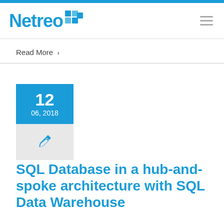Netreo
Read More >
12
06, 2018
SQL Database in a hub-and-spoke architecture with SQL Data Warehouse